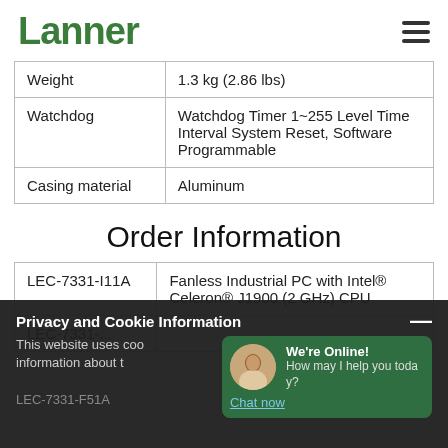Lanner
|  |  |
| --- | --- |
| Weight | 1.3 kg (2.86 lbs) |
| Watchdog | Watchdog Timer 1~255 Level Time Interval System Reset, Software Programmable |
| Casing material | Aluminum |
Order Information
|  |  |
| --- | --- |
| LEC-7331-I11A | Fanless Industrial PC with Intel® Celeron® J1900 (2 GHz) CPU |
| LEC-7331-... |  |
| LEC-7331-F51A |  |
Privacy and Cookie Information
This website uses cookies... We're Online! How may I help you today? Chat now